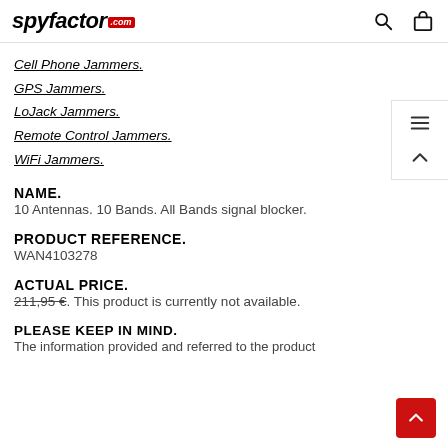spyfactor.com
Cell Phone Jammers.
GPS Jammers.
LoJack Jammers.
Remote Control Jammers.
WiFi Jammers.
NAME.
10 Antennas. 10 Bands. All Bands signal blocker.
PRODUCT REFERENCE.
WAN4103278
ACTUAL PRICE.
211,95 €. This product is currently not available.
PLEASE KEEP IN MIND.
The information provided and referred to the product